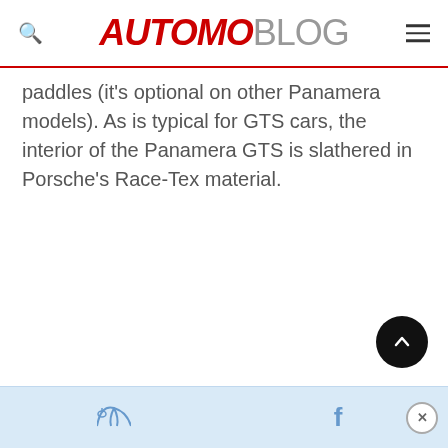AUTOMOBLOG
paddles (it's optional on other Panamera models). As is typical for GTS cars, the interior of the Panamera GTS is slathered in Porsche's Race-Tex material.